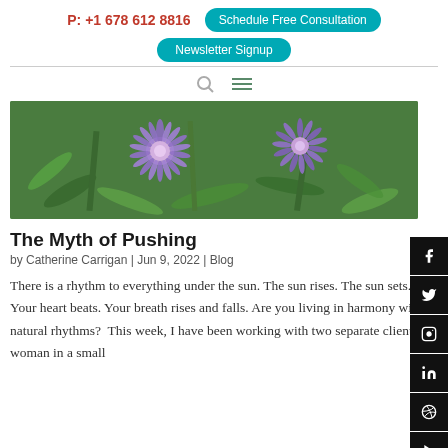P: +1 678 612 8816   Schedule Free Consultation   Newsletter Signup
[Figure (screenshot): Navigation bar with search icon and hamburger menu]
[Figure (photo): Close-up photo of purple/lavender spiky flowers (globe thistle or similar) with green leaves background]
The Myth of Pushing
by Catherine Carrigan | Jun 9, 2022 | Blog
There is a rhythm to everything under the sun. The sun rises. The sun sets. Your heart beats. Your breath rises and falls. Are you living in harmony with natural rhythms?  This week, I have been working with two separate clients – a woman in a small